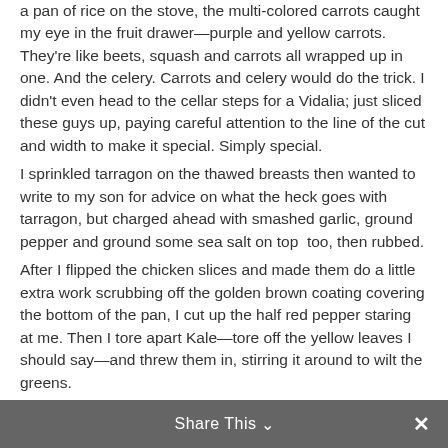a pan of rice on the stove, the multi-colored carrots caught my eye in the fruit drawer—purple and yellow carrots. They're like beets, squash and carrots all wrapped up in one. And the celery. Carrots and celery would do the trick. I didn't even head to the cellar steps for a Vidalia; just sliced these guys up, paying careful attention to the line of the cut and width to make it special. Simply special.
I sprinkled tarragon on the thawed breasts then wanted to write to my son for advice on what the heck goes with tarragon, but charged ahead with smashed garlic, ground pepper and ground some sea salt on top  too, then rubbed.
After I flipped the chicken slices and made them do a little extra work scrubbing off the golden brown coating covering the bottom of the pan, I cut up the half red pepper staring at me. Then I tore apart Kale—tore off the yellow leaves I should say—and threw them in, stirring it around to wilt the greens.
Share This ∨  ✕